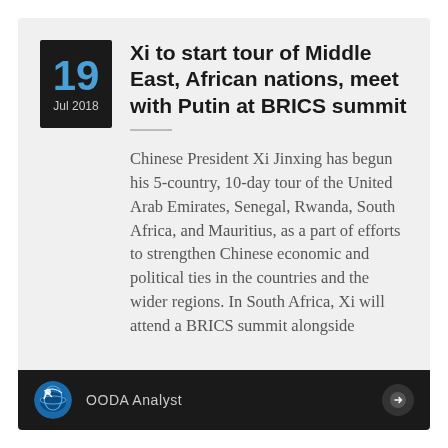Xi to start tour of Middle East, African nations, meet with Putin at BRICS summit
Chinese President Xi Jinxing has begun his 5-country, 10-day tour of the United Arab Emirates, Senegal, Rwanda, South Africa, and Mauritius, as a part of efforts to strengthen Chinese economic and political ties in the countries and the wider regions. In South Africa, Xi will attend a BRICS summit alongside
OODA Analyst